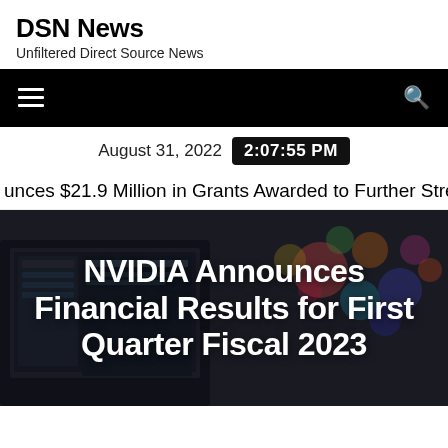DSN News
Unfiltered Direct Source News
August 31, 2022  2:07:55 PM
unces $21.9 Million in Grants Awarded to Further Strengthen I
NVIDIA Announces Financial Results for First Quarter Fiscal 2023